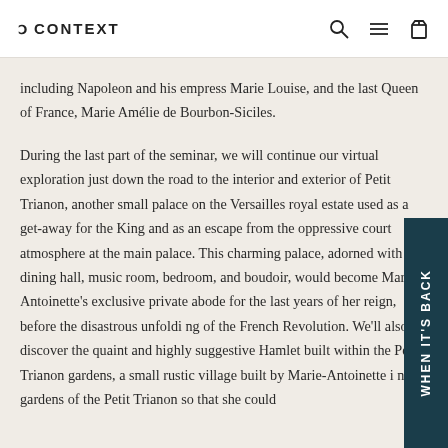CONTEXT
including Napoleon and his empress Marie Louise, and the last Queen of France, Marie Amélie de Bourbon-Siciles.
During the last part of the seminar, we will continue our virtual exploration just down the road to the interior and exterior of Petit Trianon, another small palace on the Versailles royal estate used as a get-away for the King and as an escape from the oppressive court atmosphere at the main palace. This charming palace, adorned with dining hall, music room, bedroom, and boudoir, would become Marie-Antoinette's exclusive private abode for the last years of her reign, before the disastrous unfolding of the French Revolution. We'll also discover the quaint and highly suggestive Hamlet built within the Petit Trianon gardens, a small rustic village built by Marie-Antoinette in the gardens of the Petit Trianon so that she could